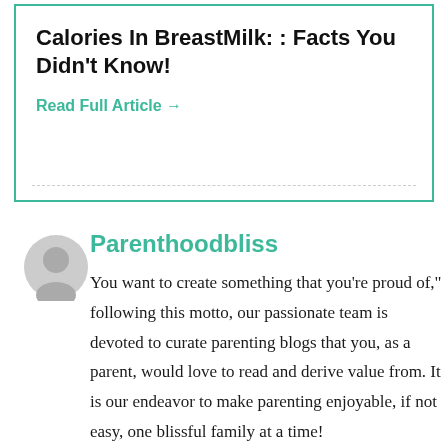Calories In BreastMilk: : Facts You Didn't Know!
Read Full Article →
Parenthoodbliss
You want to create something that you're proud of," following this motto, our passionate team is devoted to curate parenting blogs that you, as a parent, would love to read and derive value from. It is our endeavor to make parenting enjoyable, if not easy, one blissful family at a time!